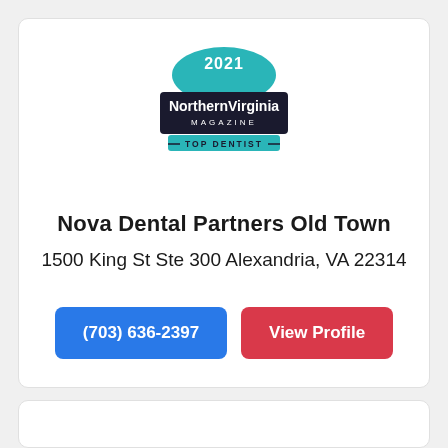[Figure (logo): 2021 Northern Virginia Magazine Top Dentist badge/logo — teal circular badge with dark rectangular banner reading 'NorthernVirginia MAGAZINE TOP DENTIST']
Nova Dental Partners Old Town
1500 King St Ste 300 Alexandria, VA 22314
(703) 636-2397
View Profile